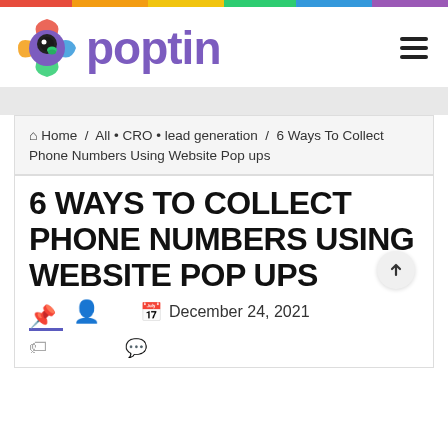[Figure (logo): Poptin logo with colorful parrot bird icon and purple 'poptin' wordmark]
Home / All • CRO • lead generation / 6 Ways To Collect Phone Numbers Using Website Pop ups
6 WAYS TO COLLECT PHONE NUMBERS USING WEBSITE POP UPS
December 24, 2021